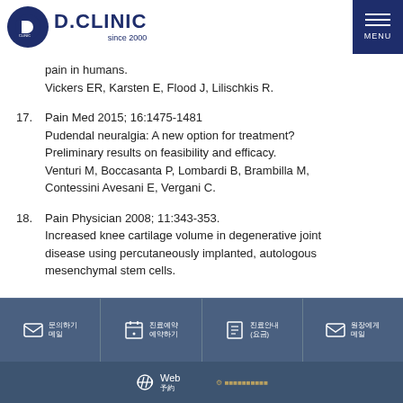D.CLINIC since 2000
pain in humans.
Vickers ER, Karsten E, Flood J, Lilischkis R.
17. Pain Med 2015; 16:1475-1481
Pudendal neuralgia: A new option for treatment? Preliminary results on feasibility and efficacy.
Venturi M, Boccasanta P, Lombardi B, Brambilla M, Contessini Avesani E, Vergani C.
18. Pain Physician 2008; 11:343-353.
Increased knee cartilage volume in degenerative joint disease using percutaneously implanted, autologous mesenchymal stem cells.
Footer navigation icons and web link